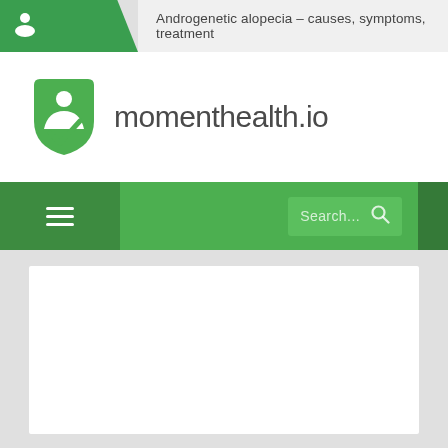Androgenetic alopecia – causes, symptoms, treatment
[Figure (logo): momenthealth.io logo with green shield/person icon and site name text]
[Figure (screenshot): Navigation bar with hamburger menu icon on left and search bar on right]
[Figure (other): White content card area below navigation on gray background]